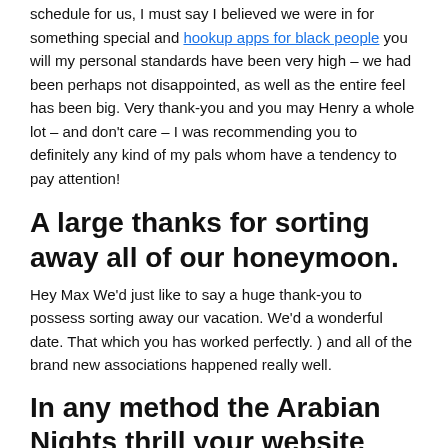schedule for us, I must say I believed we were in for something special and hookup apps for black people you will my personal standards have been very high – we had been perhaps not disappointed, as well as the entire feel has been big. Very thank-you and you may Henry a whole lot – and don't care – I was recommending you to definitely any kind of my pals whom have a tendency to pay attention!
A large thanks for sorting away all of our honeymoon.
Hey Max We'd just like to say a huge thank-you to possess sorting away our vacation. We'd a wonderful date. That which you has worked perfectly. ) and all of the brand new associations happened really well.
In any method the Arabian Nights thrill your website pledges